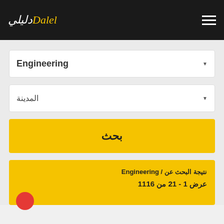Daleli (دليلي) — Navigation header with logo and hamburger menu
Engineering (dropdown selected value)
المدينة (dropdown placeholder)
بحث (Search button)
نتيجة البحث عن / Engineering
عرض 1 - 21 من 1116